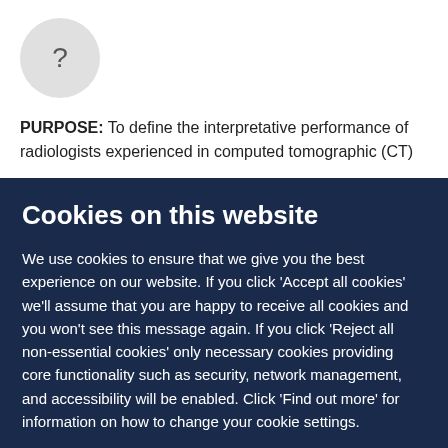[Figure (other): Gray circular avatar icon with a question mark in the center]
PURPOSE: To define the interpretative performance of radiologists experienced in computed tomographic (CT)
Cookies on this website
We use cookies to ensure that we give you the best experience on our website. If you click 'Accept all cookies' we'll assume that you are happy to receive all cookies and you won't see this message again. If you click 'Reject all non-essential cookies' only necessary cookies providing core functionality such as security, network management, and accessibility will be enabled. Click 'Find out more' for information on how to change your cookie settings.
Accept all cookies
Reject all non-essential cookies
Find out more